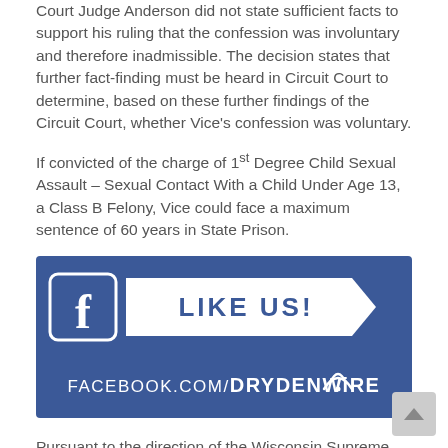Court Judge Anderson did not state sufficient facts to support his ruling that the confession was involuntary and therefore inadmissible. The decision states that further fact-finding must be heard in Circuit Court to determine, based on these further findings of the Circuit Court, whether Vice's confession was voluntary.
If convicted of the charge of 1st Degree Child Sexual Assault – Sexual Contact With a Child Under Age 13, a Class B Felony, Vice could face a maximum sentence of 60 years in State Prison.
[Figure (other): Facebook 'Like Us!' advertisement banner for FACEBOOK.COM/DRYDENWIRE with a blue background, Facebook 'f' icon in a white-bordered box, a white ribbon shape with 'LIKE US!' in blue text, and 'FACEBOOK.COM/DRYDENWiRE' in white text with a WiFi icon.]
Pursuant to the direction of the Wisconsin Supreme Court, as found in Supreme Court Rule 20:3.6, Trial